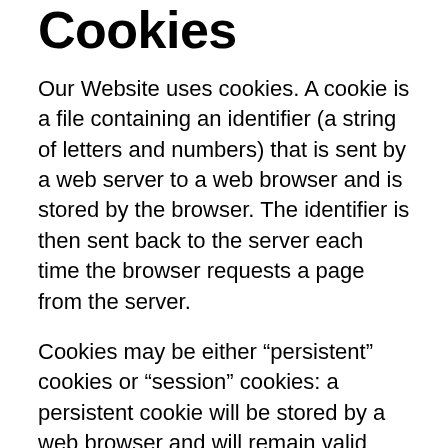Cookies
Our Website uses cookies. A cookie is a file containing an identifier (a string of letters and numbers) that is sent by a web server to a web browser and is stored by the browser. The identifier is then sent back to the server each time the browser requests a page from the server.
Cookies may be either “persistent” cookies or “session” cookies: a persistent cookie will be stored by a web browser and will remain valid until